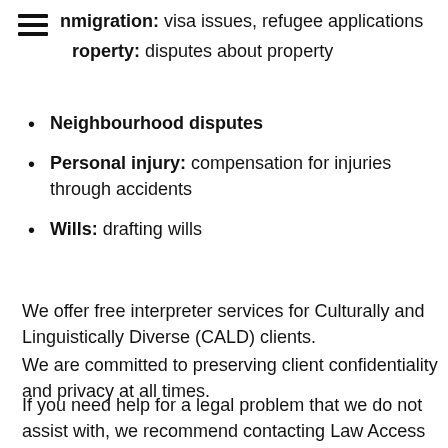nmigration: visa issues, refugee applications
roperty: disputes about property
Neighbourhood disputes
Personal injury: compensation for injuries through accidents
Wills: drafting wills
We offer free interpreter services for Culturally and Linguistically Diverse (CALD) clients.
We are committed to preserving client confidentiality and privacy at all times.
If you need help for a legal problem that we do not assist with, we recommend contacting Law Access on 1300 888 529 or your local community legal service (find your local CLC).